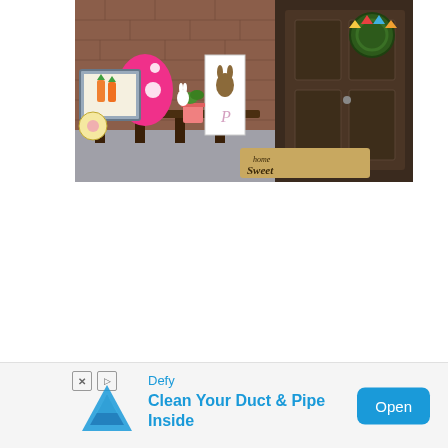[Figure (photo): A front porch decorated for Easter with a pink polka-dot egg, Easter bunny and letter 'P' sign, a framed carrot artwork, potted plant, small white bunny figurine, a wreath with colorful bunting on the dark wooden front door, and a 'Home Sweet Home' doormat. The porch has a dark wooden bench and brick walls.]
[Figure (infographic): An advertisement bar at the bottom of the page. Shows 'Defy' brand name and logo (blue triangle/mountain shape), with headline 'Clean Your Duct & Pipe Inside' and a blue 'Open' button. Close (X) and skip (triangle play) icons are shown at the left.]